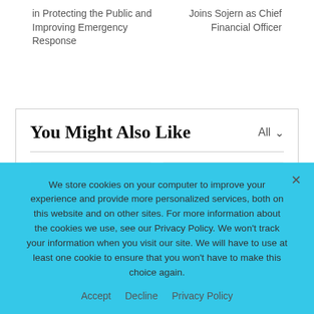in Protecting the Public and Improving Emergency Response
Joins Sojern as Chief Financial Officer
You Might Also Like
[Figure (other): Two image placeholder cards for recommended articles]
We store cookies on your computer to improve your experience and provide more personalized services, both on this website and on other sites. For more information about the cookies we use, see our Privacy Policy. We won't track your information when you visit our site. We will have to use at least one cookie to ensure that you won't have to make this choice again.
Accept   Decline   Privacy Policy